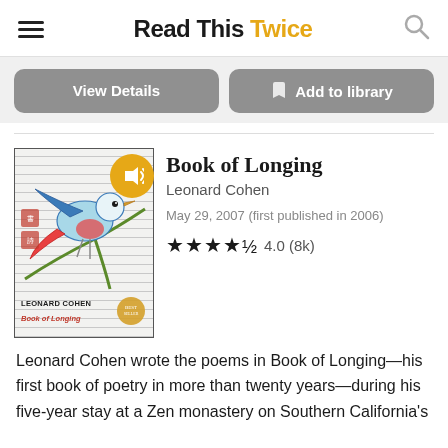Read This Twice
View Details
Add to library
[Figure (photo): Book cover of 'Book of Longing' by Leonard Cohen featuring an illustrated bird on a branch with Chinese-style line background and red stamps, with an audio badge (speaker icon) overlay]
Book of Longing
Leonard Cohen
May 29, 2007 (first published in 2006)
★★★★½ 4.0 (8k)
Leonard Cohen wrote the poems in Book of Longing—his first book of poetry in more than twenty years—during his five-year stay at a Zen monastery on Southern California's